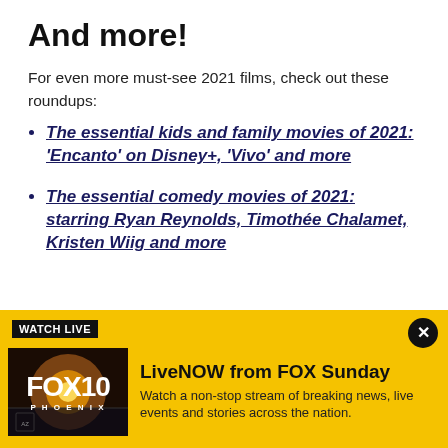And more!
For even more must-see 2021 films, check out these roundups:
The essential kids and family movies of 2021: ‘Encanto’ on Disney+, ‘Vivo’ and more
The essential comedy movies of 2021: starring Ryan Reynolds, Timothée Chalamet, Kristen Wiig and more
[Figure (infographic): FOX 10 Phoenix LiveNOW from FOX Sunday promotional banner with Watch Live label and close button]